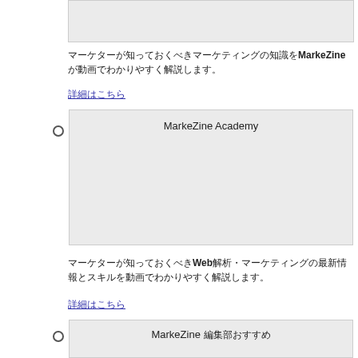[Figure (screenshot): Gray placeholder box at top of page, first item in a list]
マーケターが知っておくべきマーケティングの知識をMarkeZineが動画でわかりやすく解説します。
詳細はこちら (link)
[Figure (screenshot): Gray placeholder box labeled 'MarkeZine Academy']
マーケターが知っておくべきWeb解析・マーケティングの最新情報とスキルを動画でわかりやすく解説します。
詳細はこちら (link)
[Figure (screenshot): Gray placeholder box labeled 'MarkeZine 編集部おすすめ']